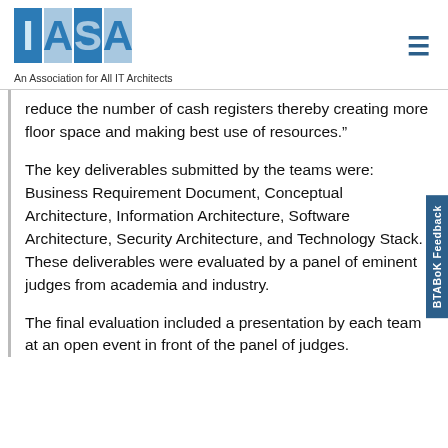[Figure (logo): IASA logo with blue blocks and letters I, A, S, A]
An Association for All IT Architects
reduce the number of cash registers thereby creating more floor space and making best use of resources.”
The key deliverables submitted by the teams were: Business Requirement Document, Conceptual Architecture, Information Architecture, Software Architecture, Security Architecture, and Technology Stack. These deliverables were evaluated by a panel of eminent judges from academia and industry.
The final evaluation included a presentation by each team at an open event in front of the panel of judges.